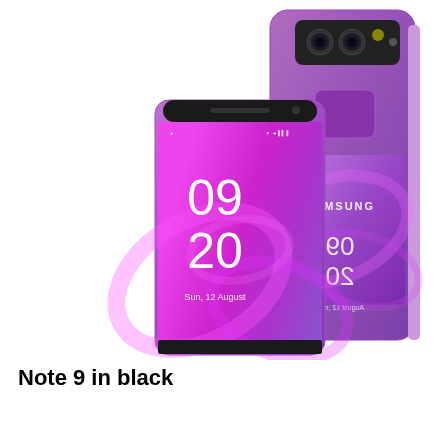[Figure (photo): Two Samsung Galaxy Note 9 smartphones in purple/lilac color. The phone on the left shows the front view with a lock screen displaying '09 20' time and 'Sun, 12 August'. The phone on the right shows the rear view with dual camera setup at the top, fingerprint sensor, and SAMSUNG branding. The rear screen shows a mirrored reflection of the lock screen.]
Note 9 in black